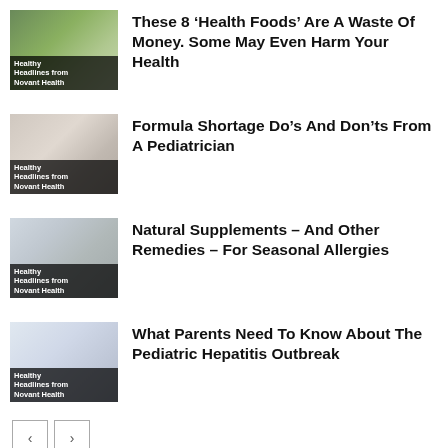[Figure (photo): Thumbnail image of grocery store produce with 'Healthy Headlines from Novant Health' label overlay]
These 8 ‘Health Foods’ Are A Waste Of Money. Some May Even Harm Your Health
[Figure (photo): Thumbnail image of person with 'Healthy Headlines from Novant Health' label overlay]
Formula Shortage Do’s And Don’ts From A Pediatrician
[Figure (photo): Thumbnail image of pharmacy/supplement shelves with 'Healthy Headlines from Novant Health' label overlay]
Natural Supplements – And Other Remedies – For Seasonal Allergies
[Figure (photo): Thumbnail image of medical professionals with 'Healthy Headlines from Novant Health' label overlay]
What Parents Need To Know About The Pediatric Hepatitis Outbreak